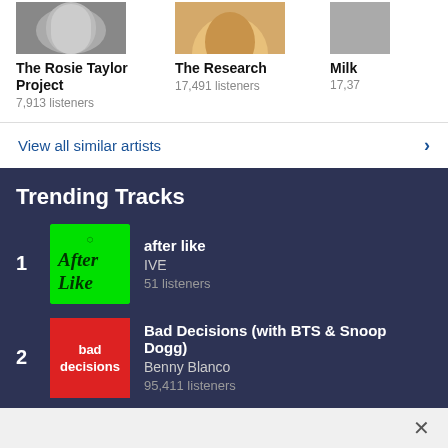The Rosie Taylor Project
7,913 listeners
The Research
17,491 listeners
Milk
17,37 listeners
View all similar artists
Trending Tracks
1. after like — IVE — 51 listeners
2. Bad Decisions (with BTS & Snoop Dogg) — Benny Blanco — 95,411 listeners